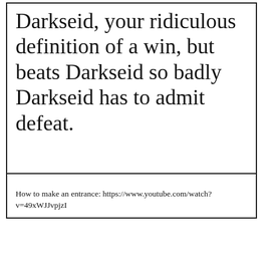Darkseid, your ridiculous definition of a win, but beats Darkseid so badly Darkseid has to admit defeat.
How to make an entrance: https://www.youtube.com/watch?v=49xWJJvpjzI